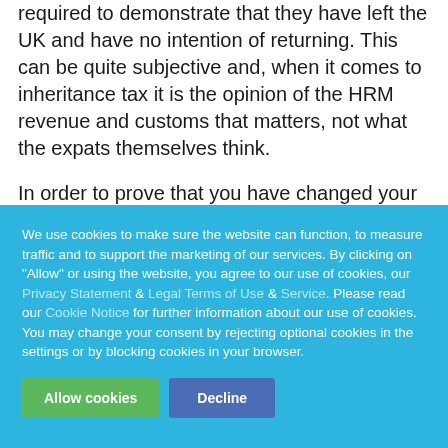required to demonstrate that they have left the UK and have no intention of returning. This can be quite subjective and, when it comes to inheritance tax it is the opinion of the HRM revenue and customs that matters, not what the expats themselves think.
In order to prove that you have changed your domicile of choice you will need solid evidence that you have...
We use cookies to make sure the website can function, to measure traffic and to support the marketing of our services. By clicking on "Allow" or using the website, you agree to our use of cookies, our Privacy Statement & Legal Terms of Use & Service. Please read our Cookie Notice for further information about our use of cookies. You may change your consent by rejecting optional cookies in the settings or by blocking cookies in your browser.